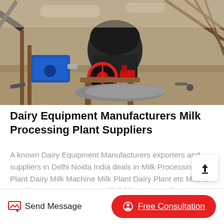[Figure (photo): Industrial machinery / crusher equipment at an outdoor site with metal scaffolding, a blue electric motor, and gravel ground.]
Dairy Equipment Manufacturers Milk Processing Plant Suppliers
A known Dairy Equipment Manufacturers exporters and suppliers in Delhi Noida India deals in Milk Processing Plant Dairy Milk Machine Milk Plant Dairy Plant etc Mobile Number 918527455996 Email abhinavpeagmailcom
Send Message   Free Consultation